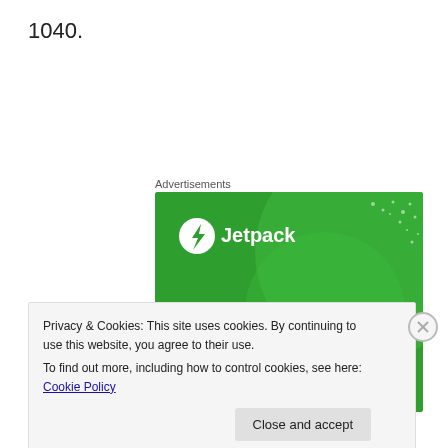1040.
Advertisements
[Figure (illustration): Jetpack WordPress plugin advertisement banner. Green background with lighter green circular shapes and star/dot pattern. White Jetpack logo (lightning bolt in circle) and text 'Jetpack' at top left. Large white bold text reads 'The best real-time WordPress backup plugin'.]
Privacy & Cookies: This site uses cookies. By continuing to use this website, you agree to their use.
To find out more, including how to control cookies, see here: Cookie Policy
Close and accept